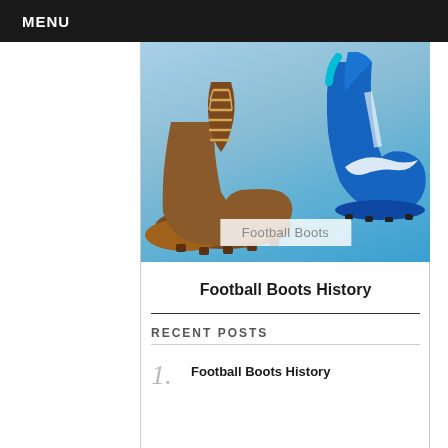MENU
[Figure (photo): Side-by-side comparison of an old brown leather football boot (left) and a modern blue Nike football boot (right) against a light blue background]
Football Boots
Football Boots History
RECENT POSTS
1. Football Boots History